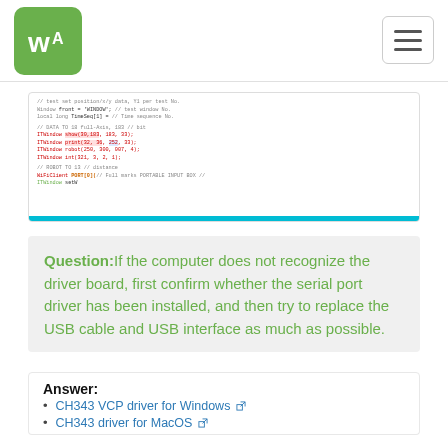WA logo and hamburger navigation menu
[Figure (screenshot): Screenshot of code editor showing Arduino/C++ code with red highlighted lines and a teal bottom bar]
Question: If the computer does not recognize the driver board, first confirm whether the serial port driver has been installed, and then try to replace the USB cable and USB interface as much as possible.
Answer:
CH343 VCP driver for Windows
CH343 driver for MacOS